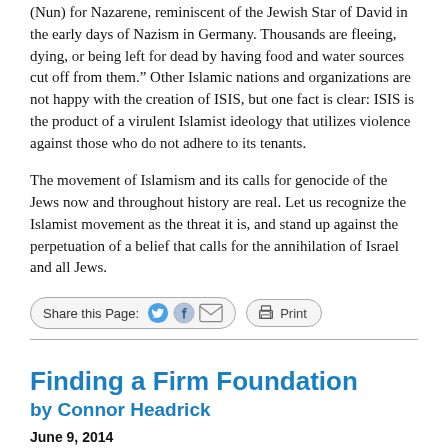(Nun) for Nazarene, reminiscent of the Jewish Star of David in the early days of Nazism in Germany. Thousands are fleeing, dying, or being left for dead by having food and water sources cut off from them.” Other Islamic nations and organizations are not happy with the creation of ISIS, but one fact is clear: ISIS is the product of a virulent Islamist ideology that utilizes violence against those who do not adhere to its tenants.
The movement of Islamism and its calls for genocide of the Jews now and throughout history are real. Let us recognize the Islamist movement as the threat it is, and stand up against the perpetuation of a belief that calls for the annihilation of Israel and all Jews.
[Figure (other): Share this Page social media bar with Twitter, Facebook, email icons and Print button]
Finding a Firm Foundation
by Connor Headrick
June 9, 2014
Navigating the complex waters of public policy with a